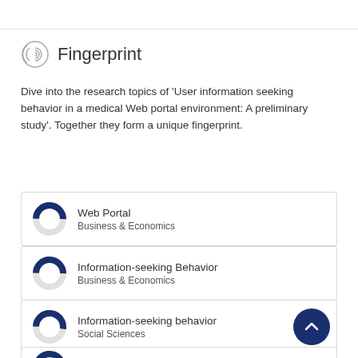Fingerprint
Dive into the research topics of 'User information seeking behavior in a medical Web portal environment: A preliminary study'. Together they form a unique fingerprint.
Web Portal — Business & Economics
Information-seeking Behavior — Business & Economics
Information-seeking behavior — Social Sciences
Information Seeking